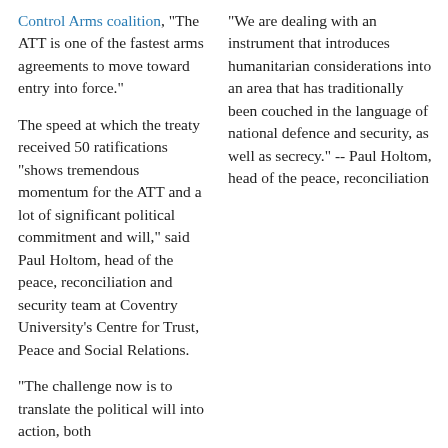Control Arms coalition, “The ATT is one of the fastest arms agreements to move toward entry into force.”
The speed at which the treaty received 50 ratifications “shows tremendous momentum for the ATT and a lot of significant political commitment and will,” said Paul Holtom, head of the peace, reconciliation and security team at Coventry University’s Centre for Trust, Peace and Social Relations.
“The challenge now is to translate the political will into action, both
“We are dealing with an instrument that introduces humanitarian considerations into an area that has traditionally been couched in the language of national defence and security, as well as secrecy.” -- Paul Holtom, head of the peace, reconciliation